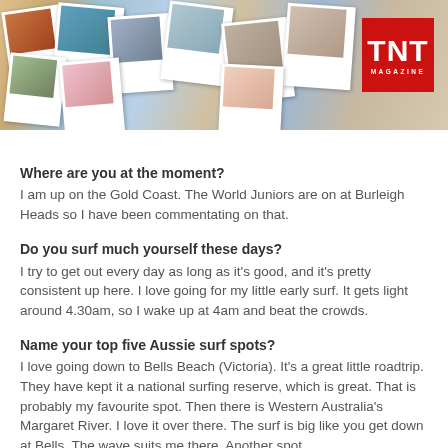[Figure (photo): Collage of polaroid travel photos with TNT Magazine logo in red on the right side]
Where are you at the moment?
I am up on the Gold Coast. The World Juniors are on at Burleigh Heads so I have been commentating on that.
Do you surf much yourself these days?
I try to get out every day as long as it's good, and it's pretty consistent up here. I love going for my little early surf. It gets light around 4.30am, so I wake up at 4am and beat the crowds.
Name your top five Aussie surf spots?
I love going down to Bells Beach (Victoria). It's a great little roadtrip. They have kept it a national surfing reserve, which is great. That is probably my favourite spot. Then there is Western Australia's Margaret River. I love it over there. The surf is big like you get down at Bells. The wave suits me there. Another spot